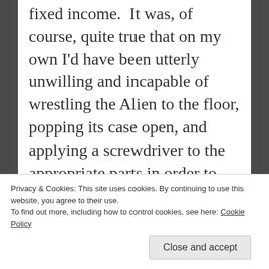fixed income. It was, of course, quite true that on my own I'd have been utterly unwilling and incapable of wrestling the Alien to the floor, popping its case open, and applying a screwdriver to the appropriate parts in order to extract and then reinstall a video card. Yes, I've done it before in years past, but I'm no longer as fearless as I once was. It was all I could do to watch my DIL tearing open a brand new
Privacy & Cookies: This site uses cookies. By continuing to use this website, you agree to their use. To find out more, including how to control cookies, see here: Cookie Policy
Close and accept